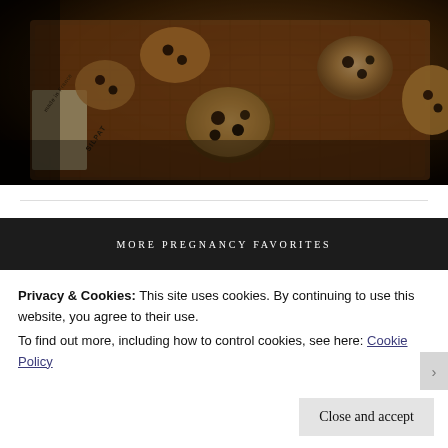[Figure (photo): Chocolate chip cookies on a silicone baking mat (Silpat, made in France) on a baking sheet, close-up overhead/angled view, dark moody lighting]
MORE PREGNANCY FAVORITES
Privacy & Cookies: This site uses cookies. By continuing to use this website, you agree to their use.
To find out more, including how to control cookies, see here: Cookie Policy
Close and accept